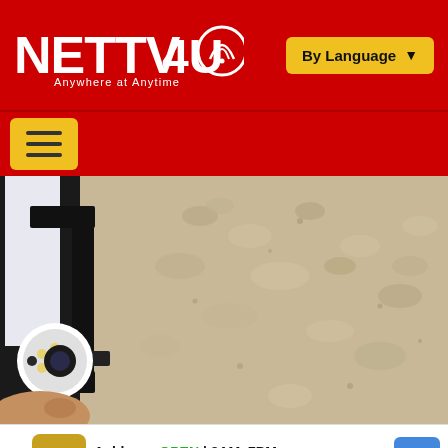[Figure (logo): NETTV4U logo with tagline 'Anywhere at Anytime' on red background header]
[Figure (screenshot): Close-up photo of a hand holding a security camera being mounted against a textured stucco wall, with a black mounting bracket]
[Figure (infographic): Advertisement bar: HC logo, Ashburn OPEN 8AM-7PM, 44110 Ashburn Shopping Plaza 190, with navigation arrow icon]